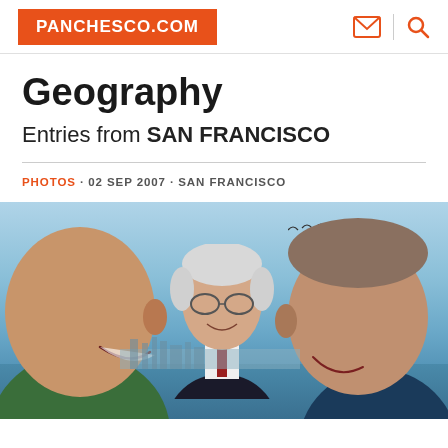PANCHESCO.COM
Geography
Entries from SAN FRANCISCO
PHOTOS · 02 SEP 2007 · SAN FRANCISCO
[Figure (photo): Three men outdoors near water with a city skyline in the background. Two men in the foreground are laughing and facing each other, while a third man stands behind them in the center. Blue sky with birds visible in the upper right.]